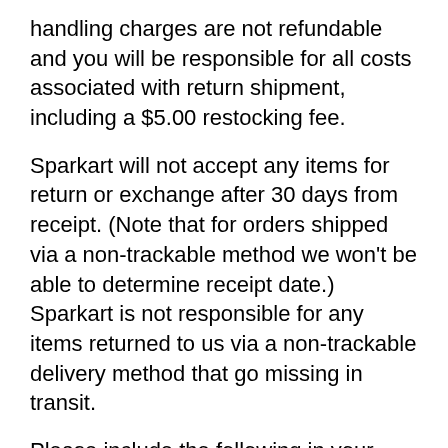handling charges are not refundable and you will be responsible for all costs associated with return shipment, including a $5.00 restocking fee.
Sparkart will not accept any items for return or exchange after 30 days from receipt. (Note that for orders shipped via a non-trackable method we won't be able to determine receipt date.) Sparkart is not responsible for any items returned to us via a non-trackable delivery method that go missing in transit.
Please include the following in your email to Customer Service and in your return:
Your order confirmation number
Your first and last name
Your mailing address